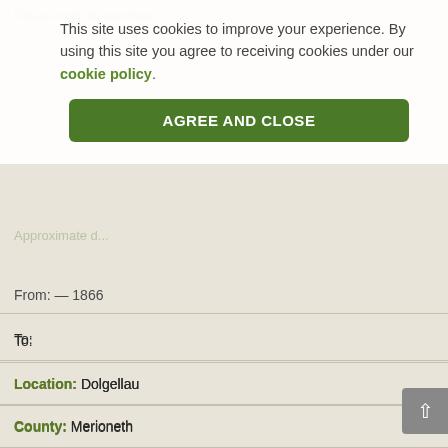Please login to comment
This site uses cookies to improve your experience. By using this site you agree to receiving cookies under our cookie policy.
AGREE AND CLOSE
Approximate d...
From: — 1866
To:
Location: Dolgellau
County: Merioneth
Creator: Maggie McKean
Related Story:
Themes: Pupil experience,Music and drama